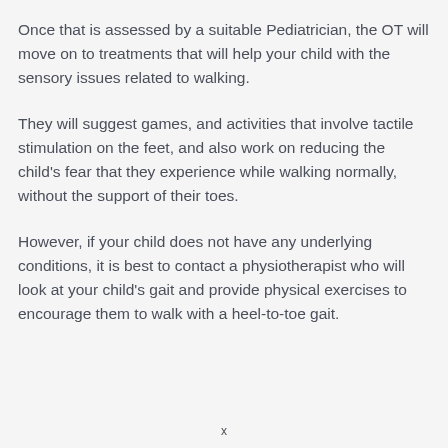Once that is assessed by a suitable Pediatrician, the OT will move on to treatments that will help your child with the sensory issues related to walking.
They will suggest games, and activities that involve tactile stimulation on the feet, and also work on reducing the child's fear that they experience while walking normally, without the support of their toes.
However, if your child does not have any underlying conditions, it is best to contact a physiotherapist who will look at your child's gait and provide physical exercises to encourage them to walk with a heel-to-toe gait.
x